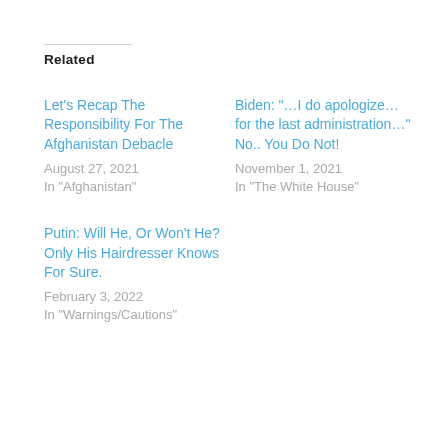Related
Let’s Recap The Responsibility For The Afghanistan Debacle
August 27, 2021
In “Afghanistan”
Biden: “…I do apologize… for the last administration…” No.. You Do Not!
November 1, 2021
In “The White House”
Putin: Will He, Or Won’t He? Only His Hairdresser Knows For Sure.
February 3, 2022
In “Warnings/Cautions”